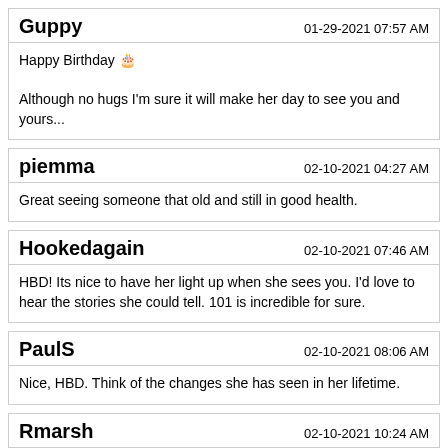Guppy | 01-29-2021 07:57 AM
Happy Birthday 🎂
Although no hugs I'm sure it will make her day to see you and yours...
piemma | 02-10-2021 04:27 AM
Great seeing someone that old and still in good health.
Hookedagain | 02-10-2021 07:46 AM
HBD! Its nice to have her light up when she sees you. I'd love to hear the stories she could tell. 101 is incredible for sure.
PaulS | 02-10-2021 08:06 AM
Nice, HBD. Think of the changes she has seen in her lifetime.
Rmarsh | 02-10-2021 10:24 AM
Quote: